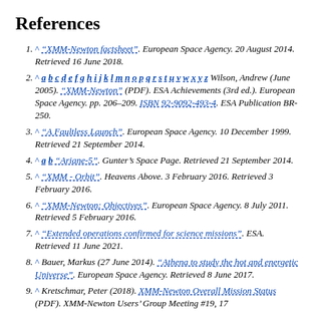References
^ "XMM-Newton factsheet". European Space Agency. 20 August 2014. Retrieved 16 June 2018.
^ a b c d e f g h i j k l m n o p q r s t u v w x y z Wilson, Andrew (June 2005). "XMM-Newton" (PDF). ESA Achievements (3rd ed.). European Space Agency. pp. 206–209. ISBN 92-9092-493-4. ESA Publication BR-250.
^ "A Faultless Launch". European Space Agency. 10 December 1999. Retrieved 21 September 2014.
^ a b "Ariane-5". Gunter's Space Page. Retrieved 21 September 2014.
^ "XMM - Orbit". Heavens Above. 3 February 2016. Retrieved 3 February 2016.
^ "XMM-Newton: Objectives". European Space Agency. 8 July 2011. Retrieved 5 February 2016.
^ "Extended operations confirmed for science missions". ESA. Retrieved 11 June 2021.
^ Bauer, Markus (27 June 2014). "Athena to study the hot and energetic Universe". European Space Agency. Retrieved 8 June 2017.
^ Kretschmar, Peter (2018). XMM-Newton Overall Mission Status (PDF). XMM-Newton Users' Group Meeting #19, 17